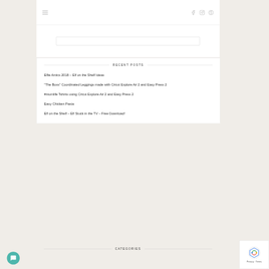Navigation bar with hamburger menu and social icons (Facebook, Instagram, Pinterest)
RECENT POSTS
Elfie Antics 2018 – Elf on the Shelf Ideas
“The Boss” Coordinated Leggings made with Cricut Explore Air 2 and Easy Press 2
#mumlife Tshirts using Cricut Explore Air 2 and Easy Press 2
Easy Chicken Pasta
Elf on the Shelf – Elf Stuck in the TV – Free Download!
CATEGORIES